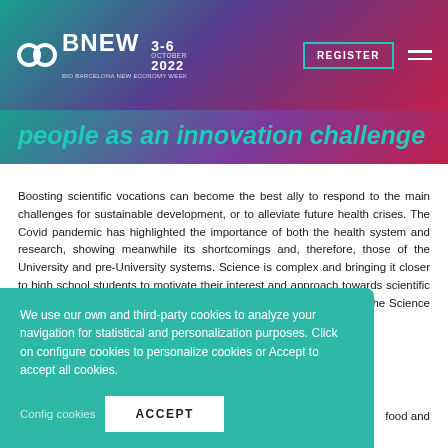BNEW 3-6 October 2022 | REGISTER
people as an innovation challenge
Boosting scientific vocations can become the best ally to respond to the main challenges for sustainable development, or to alleviate future health crises. The Covid pandemic has highlighted the importance of both the health system and research, showing meanwhile its shortcomings and, therefore, those of the University and pre-University systems. Science is complex and bringing it closer to high school students to motivate their interest and approach towards scientific and technological studies and their professional orientation towards the Science project for Foundation, to become knowledge and food and Science Academy proposes science, technology,
We use our own and third-party cookies to analyze your navigation for statistical and personalization purposes. Click on configure cookies to personalize cookies or Accept to accept all cookies.
Config cookies | ACCEPT